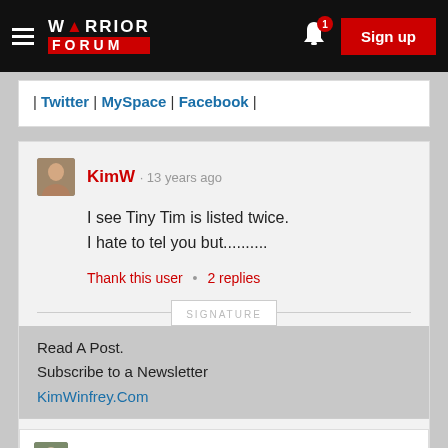Warrior Forum | Sign up
| Twitter | MySpace | Facebook |
KimW · 13 years ago
I see Tiny Tim is listed twice.
I hate to tel you but..........
Thank this user • 2 replies
SIGNATURE
Read A Post.
Subscribe to a Newsletter
KimWinfrey.Com
Killer Joe · 13 years ago